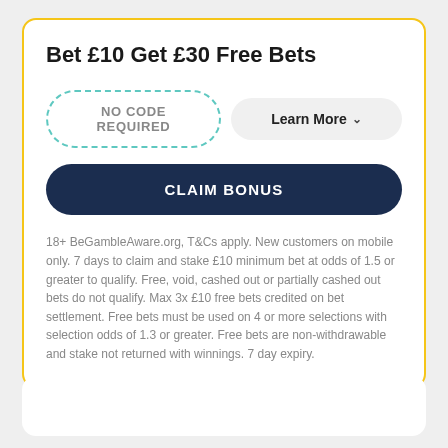Bet £10 Get £30 Free Bets
NO CODE REQUIRED
Learn More
CLAIM BONUS
18+ BeGambleAware.org, T&Cs apply. New customers on mobile only. 7 days to claim and stake £10 minimum bet at odds of 1.5 or greater to qualify. Free, void, cashed out or partially cashed out bets do not qualify. Max 3x £10 free bets credited on bet settlement. Free bets must be used on 4 or more selections with selection odds of 1.3 or greater. Free bets are non-withdrawable and stake not returned with winnings. 7 day expiry.